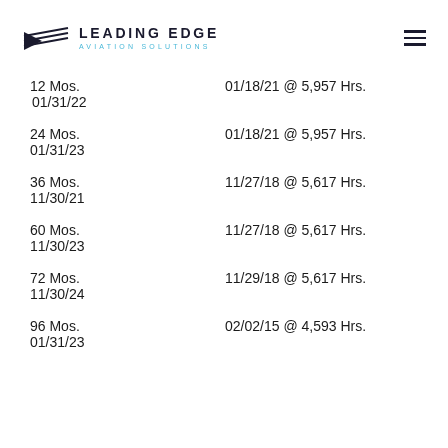LEADING EDGE AVIATION SOLUTIONS
12 Mos.   01/18/21 @ 5,957 Hrs.
01/31/22
24 Mos.   01/18/21 @ 5,957 Hrs.
01/31/23
36 Mos.   11/27/18 @ 5,617 Hrs.
11/30/21
60 Mos.   11/27/18 @ 5,617 Hrs.
11/30/23
72 Mos.   11/29/18 @ 5,617 Hrs.
11/30/24
96 Mos.   02/02/15 @ 4,593 Hrs.
01/31/23